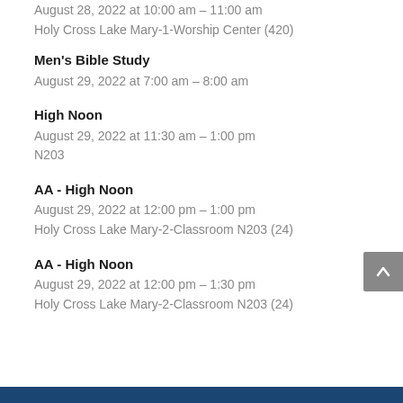August 28, 2022 at 10:00 am – 11:00 am
Holy Cross Lake Mary-1-Worship Center (420)
Men's Bible Study
August 29, 2022 at 7:00 am – 8:00 am
High Noon
August 29, 2022 at 11:30 am – 1:00 pm
N203
AA - High Noon
August 29, 2022 at 12:00 pm – 1:00 pm
Holy Cross Lake Mary-2-Classroom N203 (24)
AA - High Noon
August 29, 2022 at 12:00 pm – 1:30 pm
Holy Cross Lake Mary-2-Classroom N203 (24)